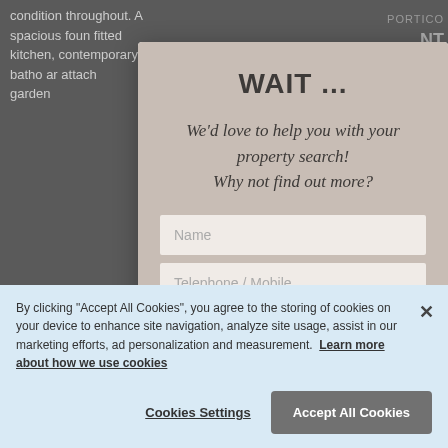condition throughout. A spacious foun fitted kitchen, contemporary batho ar attach garden
PORTICO NT ION VE
Newpo which has be w years, one Centra city comm me so popula age in Leyton Village has under
[Figure (screenshot): Modal popup with title 'WAIT ...' and italic tagline 'We’d love to help you with your property search! Why not find out more?' with two input fields: Name and Telephone / Mobile]
By clicking “Accept All Cookies”, you agree to the storing of cookies on your device to enhance site navigation, analyze site usage, assist in our marketing efforts, ad personalization and measurement.
Learn more about how we use cookies
Cookies Settings
Accept All Cookies